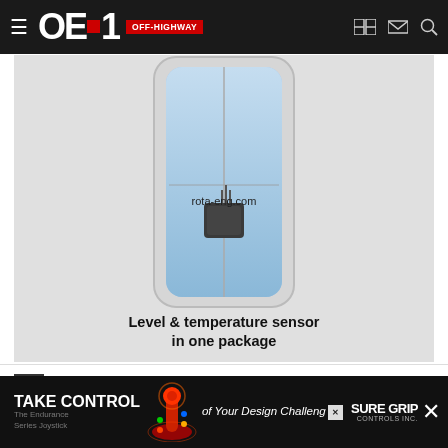OEM OFF-HIGHWAY
[Figure (photo): Product photo of a fluid level and temperature sensor in a clear housing showing a blue fluid reservoir with a sensor module mounted on it. Watermark text reads rota-eng.com. Caption below reads: Level & temperature sensor in one package]
[Figure (infographic): Advertisement banner: TAKE CONTROL of Your Design Challenge - The Endurance Series Joystick by Sure Grip Controls Inc., with joystick image and colorful lighting effects]